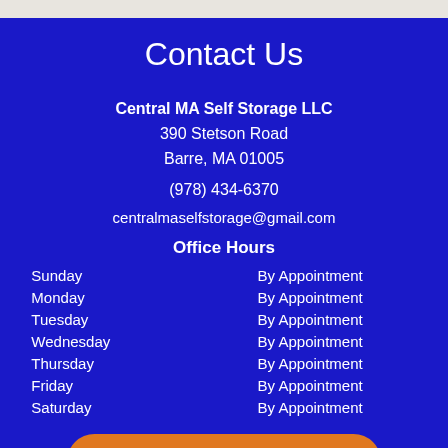Contact Us
Central MA Self Storage LLC
390 Stetson Road
Barre, MA 01005
(978) 434-6370
centralmaselfstorage@gmail.com
Office Hours
| Day | Hours |
| --- | --- |
| Sunday | By Appointment |
| Monday | By Appointment |
| Tuesday | By Appointment |
| Wednesday | By Appointment |
| Thursday | By Appointment |
| Friday | By Appointment |
| Saturday | By Appointment |
Rent Storage Units Online
[Figure (logo): Facebook logo icon in white]